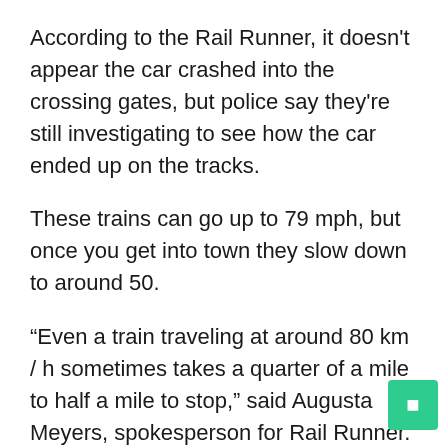According to the Rail Runner, it doesn't appear the car crashed into the crossing gates, but police say they're still investigating to see how the car ended up on the tracks.
These trains can go up to 79 mph, but once you get into town they slow down to around 50.
“Even a train traveling at around 80 km / h sometimes takes a quarter of a mile to half a mile to stop,” said Augusta Meyers, spokesperson for Rail Runner.
The accident caused significant delays, forcing the Rail Runner to carry passengers from other trains to various stations. The Rail Runner says he has cameras on all of his trains that will help